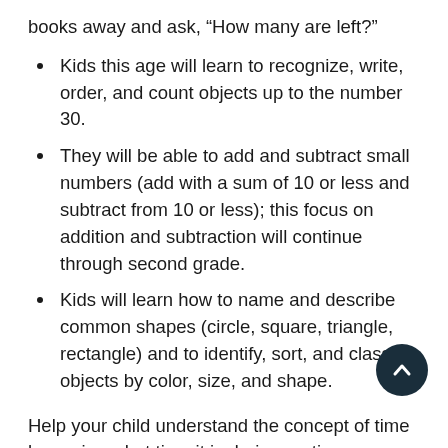books away and ask, “How many are left?”
Kids this age will learn to recognize, write, order, and count objects up to the number 30.
They will be able to add and subtract small numbers (add with a sum of 10 or less and subtract from 10 or less); this focus on addition and subtraction will continue through second grade.
Kids will learn how to name and describe common shapes (circle, square, triangle, rectangle) and to identify, sort, and classify objects by color, size, and shape.
Help your child understand the concept of time by saying what time it is during routine activities. Use and explain words like morning, noon, night, yesterday, today, and tomorrow. Make a timeline together showing a typical with drawings of regular events and the time of day wri beneath each one.